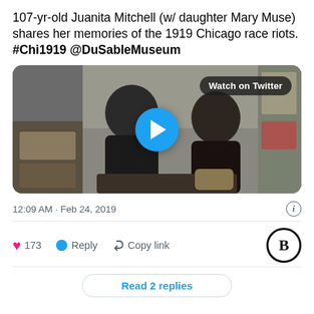107-yr-old Juanita Mitchell (w/ daughter Mary Muse) shares her memories of the 1919 Chicago race riots. #Chi1919 @DuSableMuseum
[Figure (screenshot): Video thumbnail showing two women seated, with a blue play button in the center and a 'Watch on Twitter' badge in the top right corner.]
12:09 AM · Feb 24, 2019
173  Reply  Copy link
Read 2 replies